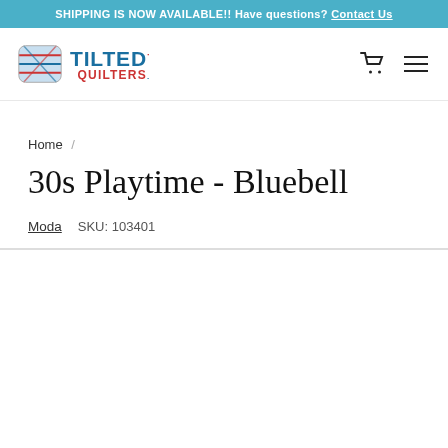SHIPPING IS NOW AVAILABLE!! Have questions? Contact Us
[Figure (logo): Tilted Quilters logo with quilting spool icon and brand name]
Home /
30s Playtime - Bluebell
Moda   SKU: 103401
[Figure (photo): Product image area (white/empty)]